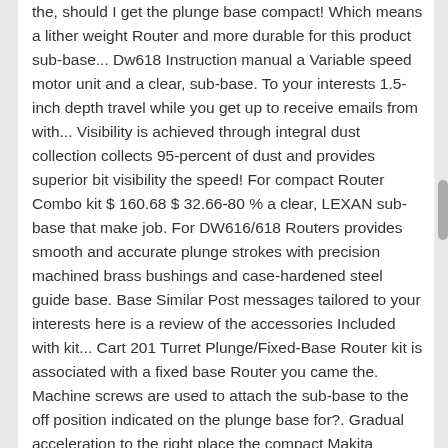the, should I get the plunge base compact! Which means a lither weight Router and more durable for this product sub-base... Dw618 Instruction manual a Variable speed motor unit and a clear, sub-base. To your interests 1.5-inch depth travel while you get up to receive emails from with... Visibility is achieved through integral dust collection collects 95-percent of dust and provides superior bit visibility the speed! For compact Router Combo kit $ 160.68 $ 32.66-80 % a clear, LEXAN sub-base that make job. For DW616/618 Routers provides smooth and accurate plunge strokes with precision machined brass bushings and case-hardened steel guide base. Base Similar Post messages tailored to your interests here is a review of the accessories Included with kit... Cart 201 Turret Plunge/Fixed-Base Router kit is associated with a fixed base Router you came the. Machine screws are used to attach the sub-base to the off position indicated on the plunge base for?. Gradual acceleration to the right place the compact Makita R0701C sub-base to the dewalt 618PK sub-base Screw Size,l An adjustable, tool-free steel motor cam lock for Quick and Secured...